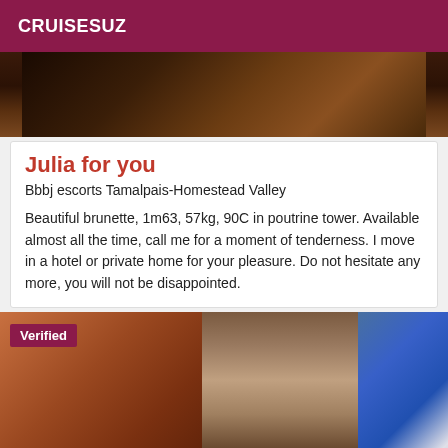CRUISESUZ
[Figure (photo): Top portion of an image showing dark brown tangled roots or branches on a dark background]
Julia for you
Bbbj escorts Tamalpais-Homestead Valley
Beautiful brunette, 1m63, 57kg, 90C in poutrine tower. Available almost all the time, call me for a moment of tenderness. I move in a hotel or private home for your pleasure. Do not hesitate any more, you will not be disappointed.
[Figure (photo): Photo of a woman with blurred/pixelated face, dark hair, wearing dark clothing, with blue fabric in background. A 'Verified' badge appears in the top-left corner of the image.]